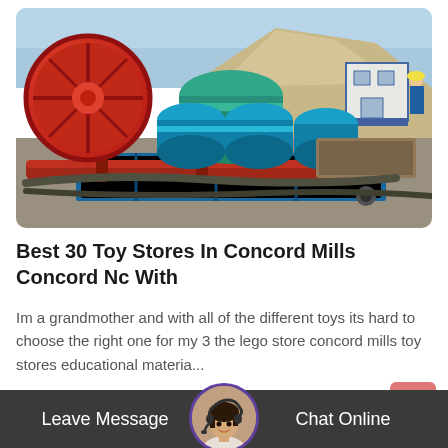[Figure (photo): Industrial mining/processing equipment: large red rotating drum, green cylindrical tank, blue cylindrical separators on a blue frame structure, with red pipe, set outdoors near a large sand/gravel pile and a small blue-outlined white building, with a worker visible on the right.]
Best 30 Toy Stores In Concord Mills Concord Nc With
Im a grandmother and with all of the different toys its hard to choose the right one for my 3 the lego store concord mills toy stores educational materia...
READ MORE ▶
Leave Message   Chat Online